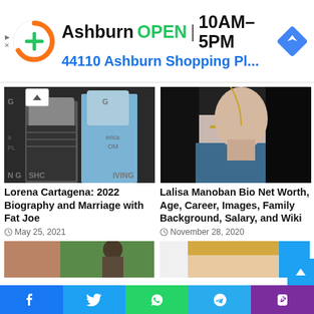[Figure (screenshot): Advertisement banner: orange circular logo with green plus sign, text 'Ashburn OPEN 10AM-5PM' and '44110 Ashburn Shopping Pl...' in blue, with navigation diamond icon on right]
[Figure (photo): Photo of Lorena Cartagena and Fat Joe at an event with a step-and-repeat backdrop]
Lorena Cartagena: 2022 Biography and Marriage with Fat Joe
May 25, 2021
[Figure (photo): Photo of Lalisa Manoban wearing a blue top and gold necklace against dark background]
Lalisa Manoban Bio Net Worth, Age, Career, Images, Family Background, Salary, and Wiki
November 28, 2020
[Figure (photo): Partial photo at bottom left showing people outdoors]
[Figure (photo): Partial photo at bottom right showing a blonde woman]
[Figure (screenshot): Social media sharing footer with Facebook, Twitter, WhatsApp, Telegram, and Phone buttons]